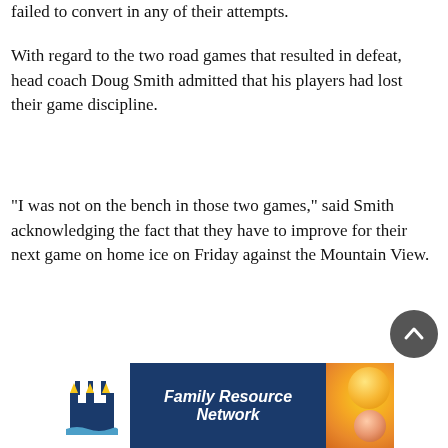failed to convert in any of their attempts.
With regard to the two road games that resulted in defeat, head coach Doug Smith admitted that his players had lost their game discipline.
“I was not on the bench in those two games,” said Smith acknowledging the fact that they have to improve for their next game on home ice on Friday against the Mountain View.
[Figure (other): McMan Family Resource Network advertisement banner with logo and circular images]
[Figure (other): Scroll-to-top button (dark circular arrow icon)]